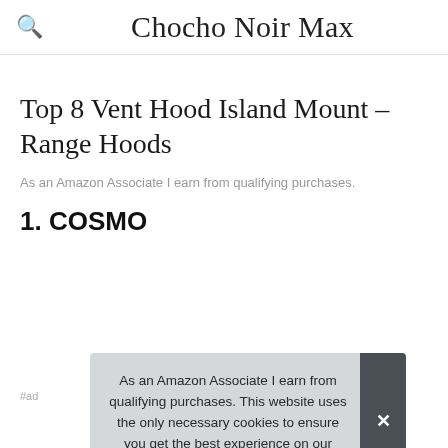Chocho Noir Max
Top 8 Vent Hood Island Mount – Range Hoods
As an Amazon Associate I earn from qualifying purchases.
1. COSMO
#ad
As an Amazon Associate I earn from qualifying purchases. This website uses the only necessary cookies to ensure you get the best experience on our website. More information